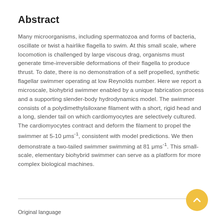Abstract
Many microorganisms, including spermatozoa and forms of bacteria, oscillate or twist a hairlike flagella to swim. At this small scale, where locomotion is challenged by large viscous drag, organisms must generate time-irreversible deformations of their flagella to produce thrust. To date, there is no demonstration of a self propelled, synthetic flagellar swimmer operating at low Reynolds number. Here we report a microscale, biohybrid swimmer enabled by a unique fabrication process and a supporting slender-body hydrodynamics model. The swimmer consists of a polydimethylsiloxane filament with a short, rigid head and a long, slender tail on which cardiomyocytes are selectively cultured. The cardiomyocytes contract and deform the filament to propel the swimmer at 5-10 μms⁻¹, consistent with model predictions. We then demonstrate a two-tailed swimmer swimming at 81 μms⁻¹. This small-scale, elementary biohybrid swimmer can serve as a platform for more complex biological machines.
Original language